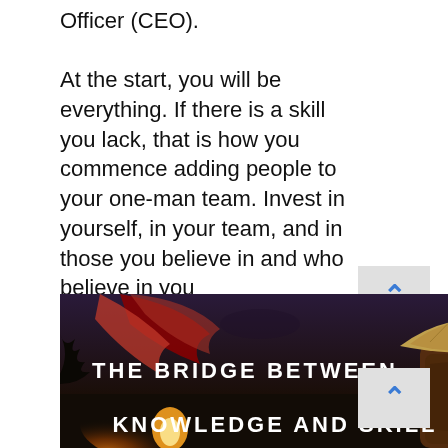Officer (CEO).

At the start, you will be everything. If there is a skill you lack, that is how you commence adding people to your one-man team. Invest in yourself, in your team, and in those you believe in and who believe in you
[Figure (illustration): Dark fantasy-style illustration of a robed figure wearing a conical Asian hat with a red flowing scarf, with glowing fire in the background. Text overlay reads 'THE BRIDGE BETWEEN' and 'KNOWLEDGE AND SKILL'.]